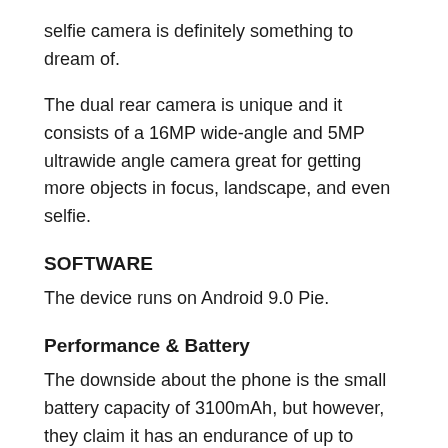selfie camera is definitely something to dream of.
The dual rear camera is unique and it consists of a 16MP wide-angle and 5MP ultrawide angle camera great for getting more objects in focus, landscape, and even selfie.
SOFTWARE
The device runs on Android 9.0 Pie.
Performance & Battery
The downside about the phone is the small battery capacity of 3100mAh, but however, they claim it has an endurance of up to 73hours.
Samsung Galaxy A40 runs on Exynos 7904 Octa-core